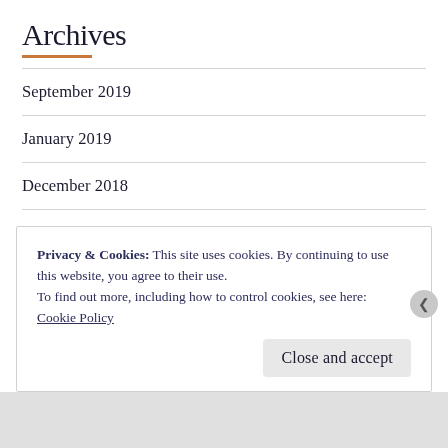Archives
September 2019
January 2019
December 2018
August 2018
July 2018
June 2018
Privacy & Cookies: This site uses cookies. By continuing to use this website, you agree to their use.
To find out more, including how to control cookies, see here: Cookie Policy
Close and accept